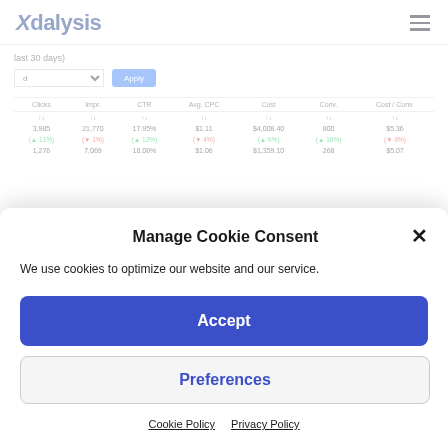[Figure (logo): Adalysis logo with stylized X in blue]
last 30 days)
| Clicks | Impr. | CTR | Avg. CPC | Cost | Conv. | Cost / Conv. |
| --- | --- | --- | --- | --- | --- | --- |
| ↑↓ | ↑↓ | ↑↓ | ↑↓ | ↑↓ | ↑↓ | ↑↓ |
| 3,985 | 21,770 | 17.95% | $1.11 | $4,008.40 | 800 | $5.36 |
| (▲11%) | (▼1%) | (▲12%) | (▼4%) | (▲6%) | (▲16%) | (▼8%) |
| 1,276 | 7,069 | 18.06% | $1.06 | $1,359.10 | 268 | $5.07 |
Manage Cookie Consent
We use cookies to optimize our website and our service.
Accept
Preferences
Cookie Policy   Privacy Policy